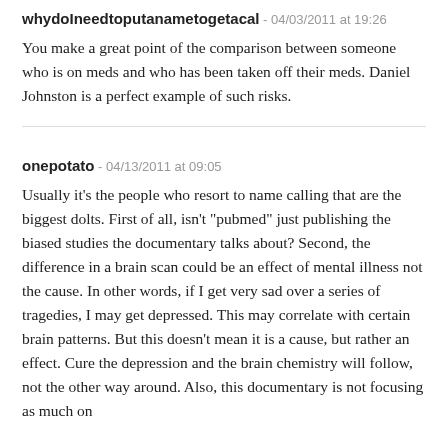whydoIneedtoputanametogetacal - 04/03/2011 at 19:26
You make a great point of the comparison between someone who is on meds and who has been taken off their meds. Daniel Johnston is a perfect example of such risks.
onepotato - 04/13/2011 at 09:05
Usually it's the people who resort to name calling that are the biggest dolts. First of all, isn't "pubmed" just publishing the biased studies the documentary talks about? Second, the difference in a brain scan could be an effect of mental illness not the cause. In other words, if I get very sad over a series of tragedies, I may get depressed. This may correlate with certain brain patterns. But this doesn't mean it is a cause, but rather an effect. Cure the depression and the brain chemistry will follow, not the other way around. Also, this documentary is not focusing as much on